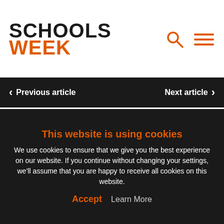SCHOOLS WEEK
Previous article | Next article
Janet Downs · 28 March 2018
NSN’s remit was to support free school proposers. But it’s twice been reminded by the Charities Commission about the rules regarding charities and political lobbying. Since then, it’s increased its remit to push for a’ knowledge-based curriculum and has produced a spurious report b… methods.
This website is using cookies
We use cookies to ensure that we give you the best experience on our website. If you continue without changing your settings, we’ll assume that you are happy to receive all cookies on this website.
Accept | Learn More
of free schools – and they should only be where new places are…